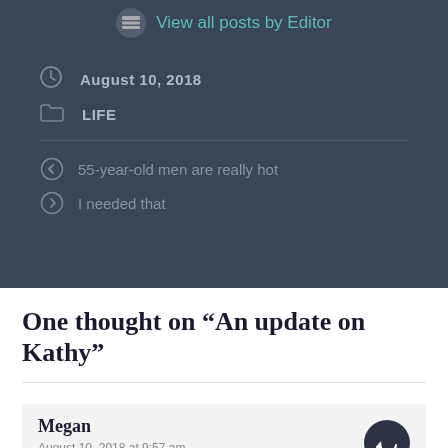View all posts by Editor
August 10, 2018
LIFE
55-year-old men are really hot
I needed that
One thought on “An update on Kathy”
Megan
August 10, 2018 at 9:57 am